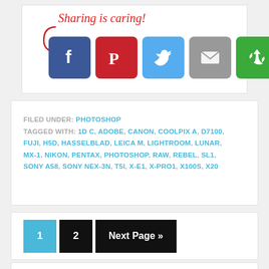[Figure (infographic): Sharing is caring! social share buttons: Facebook (blue), Pinterest (red), Twitter (light blue), Email (grey), Google+ styled (green)]
FILED UNDER: PHOTOSHOP
TAGGED WITH: 1D C, ADOBE, CANON, COOLPIX A, D7100, FUJI, H5D, HASSELBLAD, LEICA M, LIGHTROOM, LUNAR, MX-1, NIKON, PENTAX, PHOTOSHOP, RAW, REBEL, SL1, SONY A58, SONY NEX-3N, T5I, X-E1, X-PRO1, X100S, X20
1  2  Next Page »